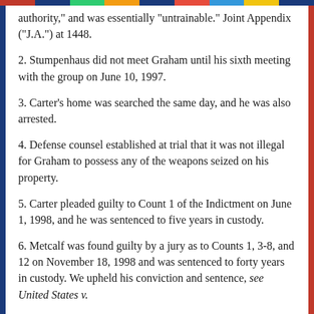authority," and was essentially "untrainable." Joint Appendix ("J.A.") at 1448.
2. Stumpenhaus did not meet Graham until his sixth meeting with the group on June 10, 1997.
3. Carter's home was searched the same day, and he was also arrested.
4. Defense counsel established at trial that it was not illegal for Graham to possess any of the weapons seized on his property.
5. Carter pleaded guilty to Count 1 of the Indictment on June 1, 1998, and he was sentenced to five years in custody.
6. Metcalf was found guilty by a jury as to Counts 1, 3-8, and 12 on November 18, 1998 and was sentenced to forty years in custody. We upheld his conviction and sentence, see United States v.